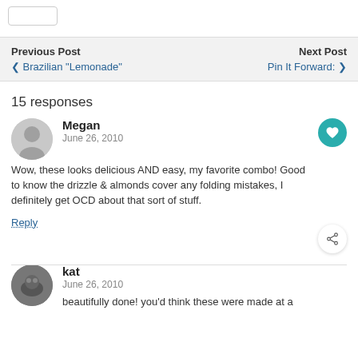Previous Post | Next Post | ❮ Brazilian "Lemonade" | Pin It Forward: ❯
15 responses
Megan
June 26, 2010
Wow, these looks delicious AND easy, my favorite combo! Good to know the drizzle & almonds cover any folding mistakes, I definitely get OCD about that sort of stuff.
Reply
kat
June 26, 2010
beautifully done! you'd think these were made at a